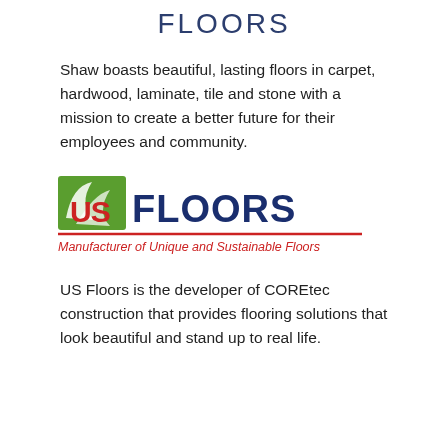FLOORS
Shaw boasts beautiful, lasting floors in carpet, hardwood, laminate, tile and stone with a mission to create a better future for their employees and community.
[Figure (logo): US FLOORS logo with green leaf icon and tagline 'Manufacturer of Unique and Sustainable Floors']
US Floors is the developer of COREtec construction that provides flooring solutions that look beautiful and stand up to real life.